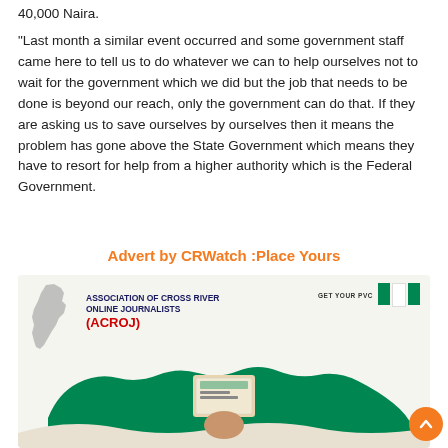40,000 Naira.
“Last month a similar event occurred and some government staff came here to tell us to do whatever we can to help ourselves not to wait for the government which we did but the job that needs to be done is beyond our reach, only the government can do that. If they are asking us to save ourselves by ourselves then it means the problem has gone above the State Government which means they have to resort for help from a higher authority which is the Federal Government.
Advert by CRWatch :Place Yours
[Figure (infographic): ACROJ (Association of Cross River Online Journalists) advertisement featuring a Nigerian flag in the top right corner with text 'GET YOUR PVC', a silhouette of Cross River State on the left, the organization name in blue and red text, and a green silhouette of Nigeria with a hand holding a PVC card in the center.]